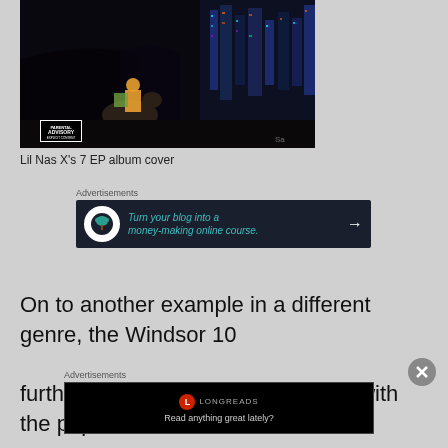[Figure (photo): Lil Nas X's 7 EP album cover showing a figure on horseback in a dark futuristic cityscape with neon lights, featuring a Parental Advisory label]
Lil Nas X's 7 EP album cover
Advertisements
[Figure (other): Advertisement banner: Turn your blog into a money-making online course. with arrow, dark navy background]
On to another example in a different genre, the Windsor 10 further shows it's musical prowess with the popular
Advertisements
[Figure (other): Longreads advertisement: Read anything great lately?]